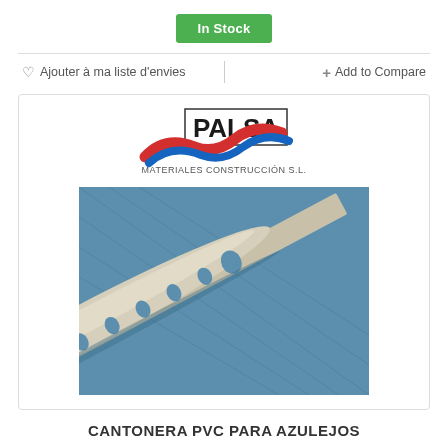In Stock
Ajouter à ma liste d'envies
+ Add to Compare
[Figure (photo): Product image showing a beige/cream colored PVC tile edging strip (cantonera) with a rounded profile and perforated base flange, photographed against a blue background. Above the product photo is the PALSA Materiales Construcción S.L. logo.]
CANTONERA PVC PARA AZULEJOS